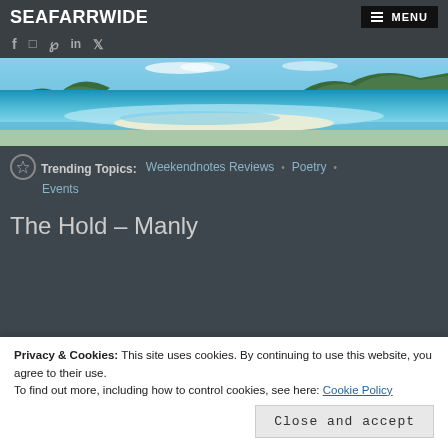SEAFARRWIDE
[Figure (photo): Aerial view of a tropical beach with turquoise water, white sand, and green hills in the background]
Trending Topics: Weekendnotes Reviews • Poetry • Events
The Hold – Manly
Privacy & Cookies: This site uses cookies. By continuing to use this website, you agree to their use.
To find out more, including how to control cookies, see here: Cookie Policy